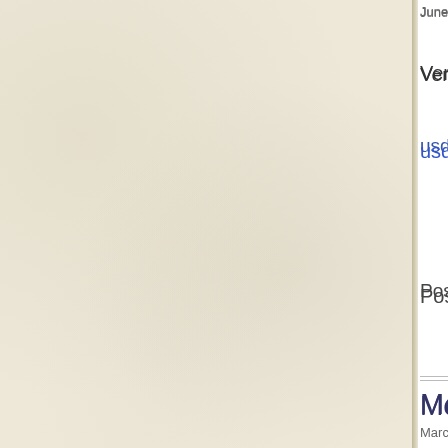June 12, 2015 5:44 PM | Tagged as farm, f...
Very nicely done video celebrat...
usdaonline.maps.arcgis.com/a...
Posted By Jeff Lee
McLean County Ag Breakfa...
March 12, 2015 12:19 PM | Tagged as farm...
This morning I attended the ann... chapter members. Keynote by ... Extension with presentation by ...
Posted By Jeff Lee
Farmers Say Frost Was No...